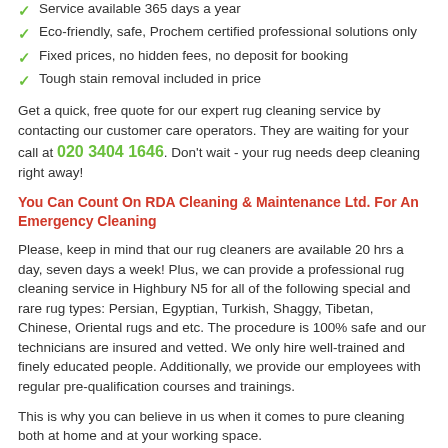Service available 365 days a year
Eco-friendly, safe, Prochem certified professional solutions only
Fixed prices, no hidden fees, no deposit for booking
Tough stain removal included in price
Get a quick, free quote for our expert rug cleaning service by contacting our customer care operators. They are waiting for your call at 020 3404 1646. Don't wait - your rug needs deep cleaning right away!
You Can Count On RDA Cleaning & Maintenance Ltd. For An Emergency Cleaning
Please, keep in mind that our rug cleaners are available 20 hrs a day, seven days a week! Plus, we can provide a professional rug cleaning service in Highbury N5 for all of the following special and rare rug types: Persian, Egyptian, Turkish, Shaggy, Tibetan, Chinese, Oriental rugs and etc. The procedure is 100% safe and our technicians are insured and vetted. We only hire well-trained and finely educated people. Additionally, we provide our employees with regular pre-qualification courses and trainings.
This is why you can believe in us when it comes to pure cleaning both at home and at your working space.